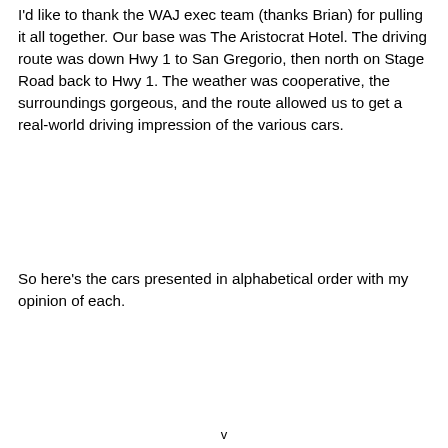I'd like to thank the WAJ exec team (thanks Brian) for pulling it all together. Our base was The Aristocrat Hotel. The driving route was down Hwy 1 to San Gregorio, then north on Stage Road back to Hwy 1. The weather was cooperative, the surroundings gorgeous, and the route allowed us to get a real-world driving impression of the various cars.
So here's the cars presented in alphabetical order with my opinion of each.
v